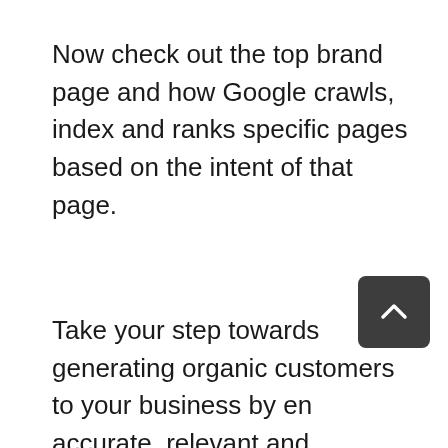Now check out the top brand page and how Google crawls, index and ranks specific pages based on the intent of that page.
Take your step towards generating organic customers to your business by ensuring accurate, relevant and professional listings on search engines is your step towards